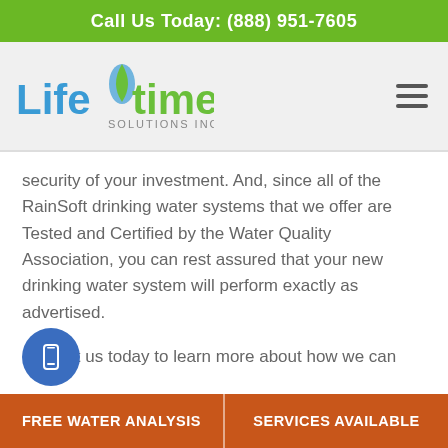Call Us Today: (888) 951-7605
[Figure (logo): Lifetime Solutions Inc. logo with blue and green water drop design]
security of your investment. And, since all of the RainSoft drinking water systems that we offer are Tested and Certified by the Water Quality Association, you can rest assured that your new drinking water system will perform exactly as advertised.
Contact us today to learn more about how we can install a premium reverse osmosis system in your home in Victorville or Whittier, CA. We also
FREE WATER ANALYSIS    SERVICES AVAILABLE